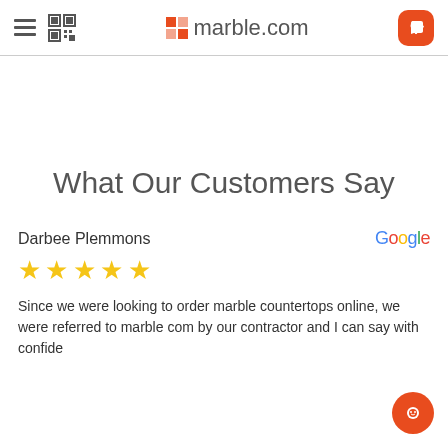marble.com
What Our Customers Say
Darbee Plemmons
[Figure (logo): Google logo text]
[Figure (other): Five yellow star rating]
Since we were looking to order marble countertops online, we were referred to marble com by our contractor and I can say with confidence